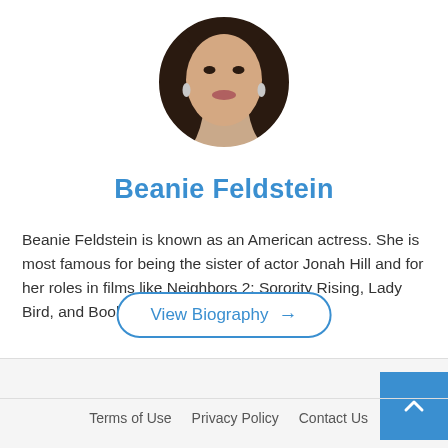[Figure (photo): Circular cropped profile photo of Beanie Feldstein, a woman with dark hair and dangling earrings]
Beanie Feldstein
Beanie Feldstein is known as an American actress. She is most famous for being the sister of actor Jonah Hill and for her roles in films like Neighbors 2: Sorority Rising, Lady Bird, and Booksmart.
View Biography →
Terms of Use   Privacy Policy   Contact Us